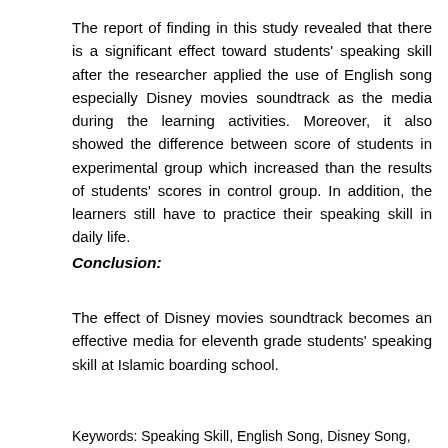The report of finding in this study revealed that there is a significant effect toward students' speaking skill after the researcher applied the use of English song especially Disney movies soundtrack as the media during the learning activities. Moreover, it also showed the difference between score of students in experimental group which increased than the results of students' scores in control group. In addition, the learners still have to practice their speaking skill in daily life.
Conclusion:
The effect of Disney movies soundtrack becomes an effective media for eleventh grade students' speaking skill at Islamic boarding school.
Keywords: Speaking Skill, English Song, Disney Song,